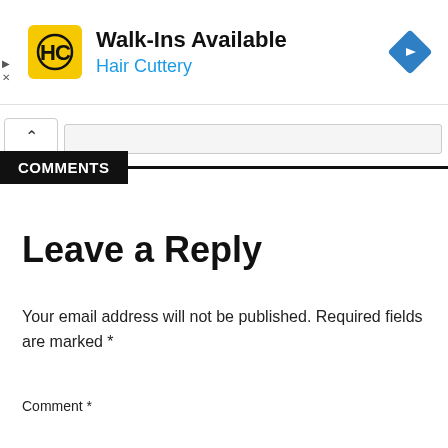[Figure (infographic): Hair Cuttery advertisement banner with logo, 'Walk-Ins Available' headline, blue 'Hair Cuttery' subtext, and a blue navigation diamond icon on the right. Small triangle and X icons on the far left.]
COMMENTS
Leave a Reply
Your email address will not be published. Required fields are marked *
Comment *